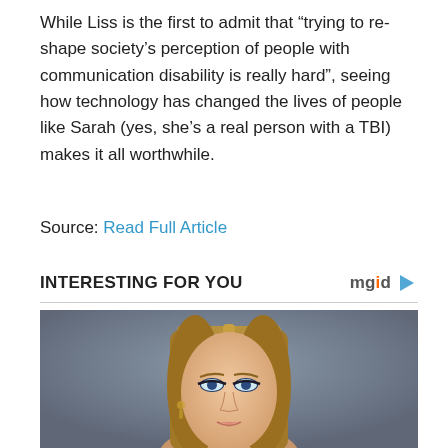While Liss is the first to admit that “trying to re-shape society’s perception of people with communication disability is really hard”, seeing how technology has changed the lives of people like Sarah (yes, she’s a real person with a TBI) makes it all worthwhile.
Source: Read Full Article
INTERESTING FOR YOU
[Figure (photo): Portrait photo of a young woman with long straight blonde-brown hair, blue eyes, and earrings, against a grey background.]